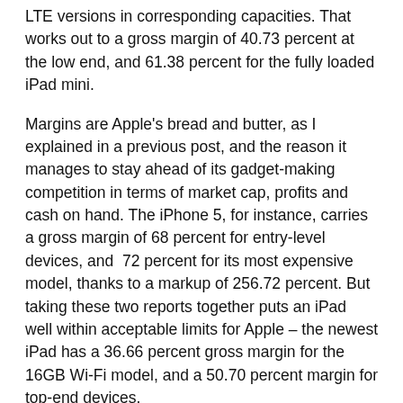LTE versions in corresponding capacities. That works out to a gross margin of 40.73 percent at the low end, and 61.38 percent for the fully loaded iPad mini.
Margins are Apple's bread and butter, as I explained in a previous post, and the reason it manages to stay ahead of its gadget-making competition in terms of market cap, profits and cash on hand. The iPhone 5, for instance, carries a gross margin of 68 percent for entry-level devices, and 72 percent for its most expensive model, thanks to a markup of 256.72 percent. But taking these two reports together puts an iPad well within acceptable limits for Apple – the newest iPad has a 36.66 percent gross margin for the 16GB Wi-Fi model, and a 50.70 percent margin for top-end devices.
Unlike Amazon, Apple just wouldn't market a device on which it was merely breaking even or losing money, since it isn't driving the bulk of its revenue from its digital content ecosystem (though it does take in a fair amount that way, too). But taking these two new pieces of information together, you can see how Apple would be able to market a new device at a price point considerably under its existing iPad offerings and still enjoy margins well within